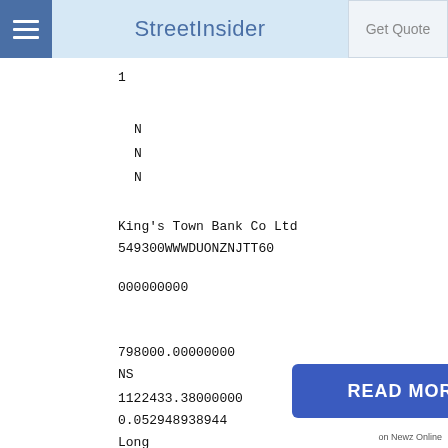StreetInsider
1
N
N
N
King's Town Bank Co Ltd
549300WWWDUONZNJTT60
000000000
798000.00000000
NS
1122433.38000000
0.052948938944
Long
EC
CORP